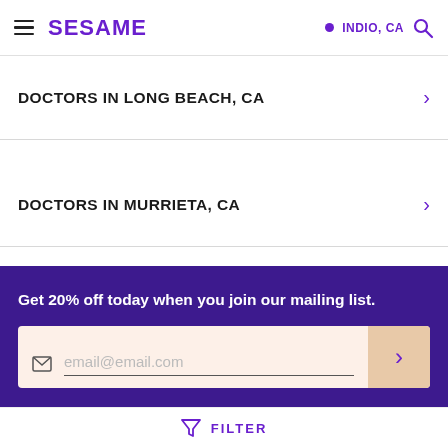SESAME | INDIO, CA
DOCTORS IN LONG BEACH, CA
DOCTORS IN MURRIETA, CA
Get 20% off today when you join our mailing list.
email@email.com
FILTER